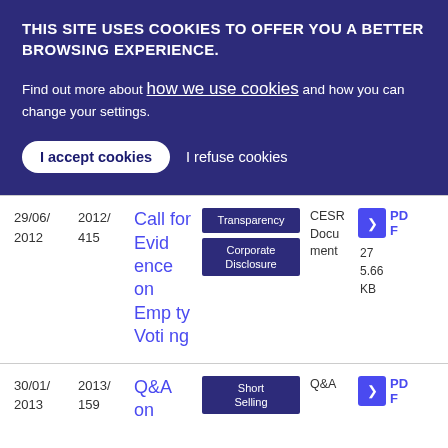THIS SITE USES COOKIES TO OFFER YOU A BETTER BROWSING EXPERIENCE.
Find out more about how we use cookies and how you can change your settings.
I accept cookies  I refuse cookies
| Date | Reference | Title | Tags | Type | Download |
| --- | --- | --- | --- | --- | --- |
| 29/06/2012 | 2012/415 | Call for Evidence on Empty Voting | Transparency, Corporate Disclosure | CESR Document | PDF 27 5.66 KB |
| 30/01/2013 | 2013/159 | Q&A on ... | Short Selling | Q&A | PDF |